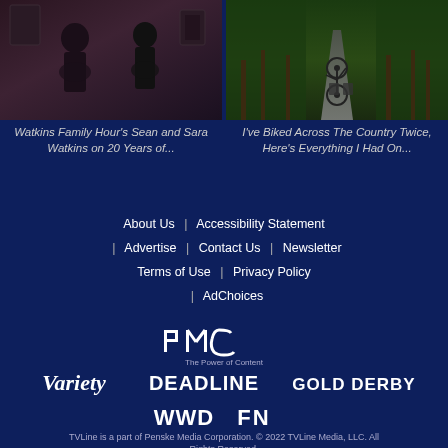[Figure (photo): Two people playing guitar indoors]
Watkins Family Hour's Sean and Sara Watkins on 20 Years of...
[Figure (photo): A bicycle on a rural road surrounded by trees]
I've Biked Across The Country Twice, Here's Everything I Had On...
About Us | Accessibility Statement | Advertise | Contact Us | Newsletter Terms of Use | Privacy Policy | AdChoices
[Figure (logo): PMC - The Power of Content logo]
[Figure (logo): Variety, Deadline, Gold Derby logos]
[Figure (logo): WWD and FN logos]
TVLine is a part of Penske Media Corporation. © 2022 TVLine Media, LLC. All Rights Reserved.